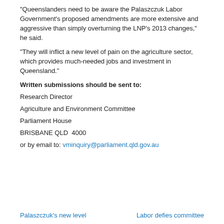“Queenslanders need to be aware the Palaszczuk Labor Government’s proposed amendments are more extensive and aggressive than simply overturning the LNP’s 2013 changes,” he said.
“They will inflict a new level of pain on the agriculture sector, which provides much-needed jobs and investment in Queensland.”
Written submissions should be sent to:
Research Director
Agriculture and Environment Committee
Parliament House
BRISBANE QLD  4000
or by email to: vminquiry@parliament.qld.gov.au
Palaszczuk’s new level    Labor defies committee